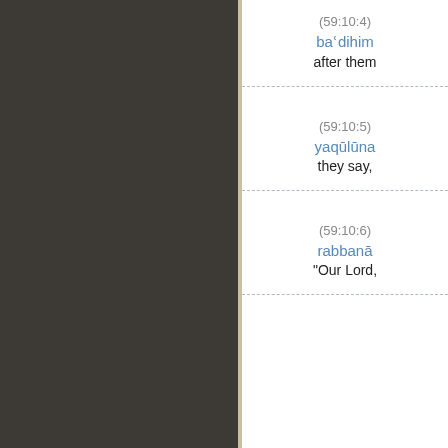(59:10:4)
baʿdihim
after them
(59:10:5)
yaqūlūna
they say,
(59:10:6)
rabbanā
"Our Lord,